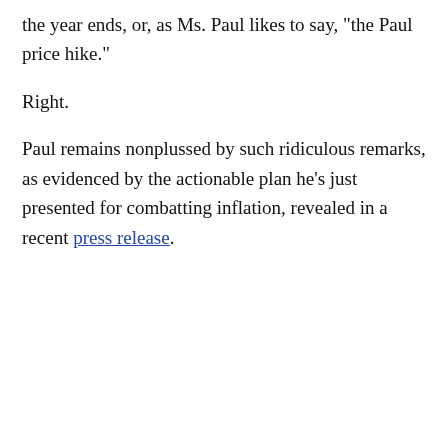the year ends, or, as Ms. Paul likes to say, "the Paul price hike."
Right.
Paul remains nonplussed by such ridiculous remarks, as evidenced by the actionable plan he’s just presented for combatting inflation, revealed in a recent press release.